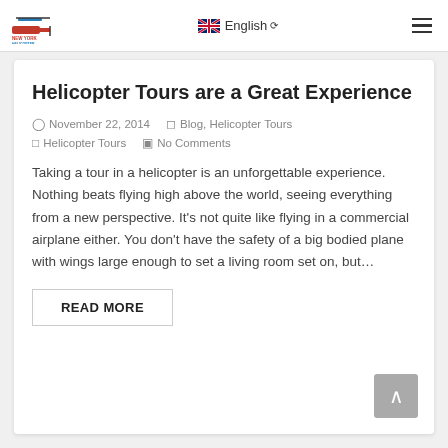New York Helicopter Tours — English
Helicopter Tours are a Great Experience
November 22, 2014   Blog, Helicopter Tours   Helicopter Tours   No Comments
Taking a tour in a helicopter is an unforgettable experience. Nothing beats flying high above the world, seeing everything from a new perspective. It's not quite like flying in a commercial airplane either. You don't have the safety of a big bodied plane with wings large enough to set a living room set on, but…
READ MORE